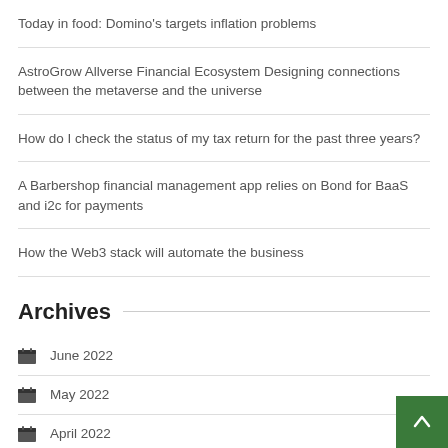Today in food: Domino's targets inflation problems
AstroGrow Allverse Financial Ecosystem Designing connections between the metaverse and the universe
How do I check the status of my tax return for the past three years?
A Barbershop financial management app relies on Bond for BaaS and i2c for payments
How the Web3 stack will automate the business
Archives
June 2022
May 2022
April 2022